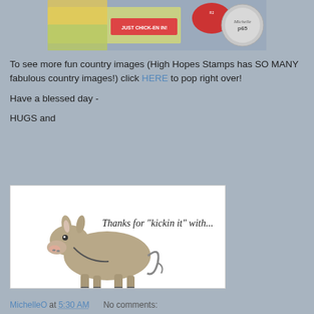[Figure (photo): Top portion of a photo showing craft stamps and ink pads including one labeled 'JUST CHICK-EN IN!' and a circular stamp reading 'Michelle p65']
To see more fun country images (High Hopes Stamps has SO MANY fabulous country images!) click HERE to pop right over!
Have a blessed day -
HUGS and
[Figure (illustration): White card with a donkey illustration on the left and text reading 'Thanks for "kickin it" with...' in a handwritten-style font]
MichelleO at 5:30 AM   No comments: